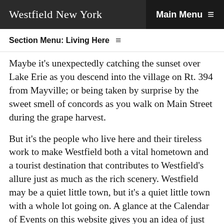Westfield New York  Main Menu ☰
Section Menu: Living Here ☰
Maybe it's unexpectedly catching the sunset over Lake Erie as you descend into the village on Rt. 394 from Mayville; or being taken by surprise by the sweet smell of concords as you walk on Main Street during the grape harvest.
But it's the people who live here and their tireless work to make Westfield both a vital hometown and a tourist destination that contributes to Westfield's allure just as much as the rich scenery. Westfield may be a quiet little town, but it's a quiet little town with a whole lot going on. A glance at the Calendar of Events on this website gives you an idea of just how much Westfield has to offer.
Attending any one of these events provides a glimpse into